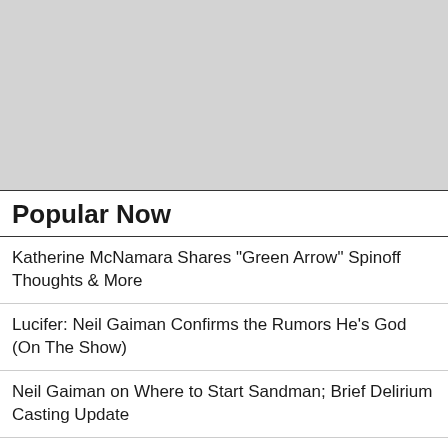[Figure (other): Gray placeholder image block at the top of the page]
Popular Now
Katherine McNamara Shares "Green Arrow" Spinoff Thoughts & More
Lucifer: Neil Gaiman Confirms the Rumors He's God (On The Show)
Neil Gaiman on Where to Start Sandman; Brief Delirium Casting Update
Casting: Comic Book News, Rumors & Information...